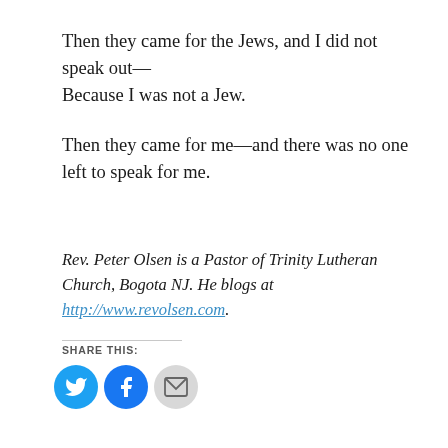Then they came for the Jews, and I did not speak out—
Because I was not a Jew.
Then they came for me—and there was no one left to speak for me.
Rev. Peter Olsen is a Pastor of Trinity Lutheran Church, Bogota NJ.  He blogs at http://www.revolsen.com.
SHARE THIS:
[Figure (other): Social share buttons: Twitter (blue bird icon), Facebook (blue f icon), Email (grey envelope icon)]